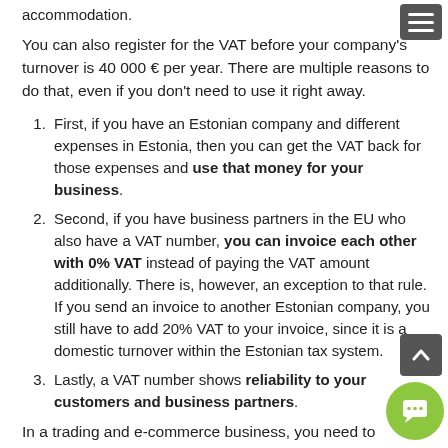accommodation.
You can also register for the VAT before your company's turnover is 40 000 € per year. There are multiple reasons to do that, even if you don't need to use it right away.
First, if you have an Estonian company and different expenses in Estonia, then you can get the VAT back for those expenses and use that money for your business.
Second, if you have business partners in the EU who also have a VAT number, you can invoice each other with 0% VAT instead of paying the VAT amount additionally. There is, however, an exception to that rule. If you send an invoice to another Estonian company, you still have to add 20% VAT to your invoice, since it is a domestic turnover within the Estonian tax system.
Lastly, a VAT number shows reliability to your customers and business partners.
In a trading and e-commerce business, you need to register